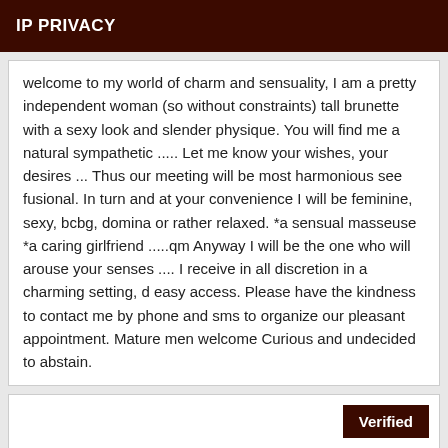IP PRIVACY
welcome to my world of charm and sensuality, I am a pretty independent woman (so without constraints) tall brunette with a sexy look and slender physique. You will find me a natural sympathetic ..... Let me know your wishes, your desires ... Thus our meeting will be most harmonious see fusional. In turn and at your convenience I will be feminine, sexy, bcbg, domina or rather relaxed. *a sensual masseuse *a caring girlfriend .....qm Anyway I will be the one who will arouse your senses .... I receive in all discretion in a charming setting, d easy access. Please have the kindness to contact me by phone and sms to organize our pleasant appointment. Mature men welcome Curious and undecided to abstain.
Verified